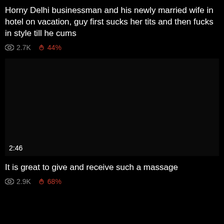Horny Delhi businessman and his newly married wife in hotel on vacation, guy first sucks her tits and then fucks in style till he cums
👁 2.7K  👍 44%
[Figure (screenshot): Black video thumbnail with duration 2:46]
It is great to give and receive such a massage
👁 2.9K  👍 68%